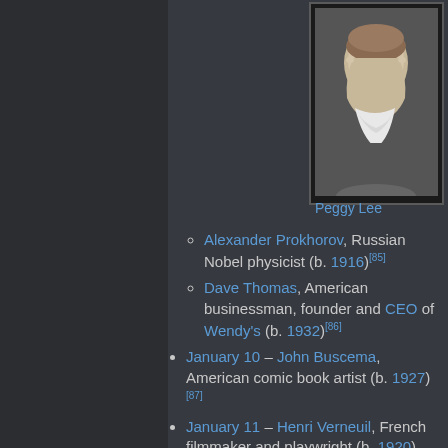[Figure (photo): Black and white portrait photograph of Peggy Lee]
Peggy Lee
Alexander Prokhorov, Russian Nobel physicist (b. 1916)[85]
Dave Thomas, American businessman, founder and CEO of Wendy's (b. 1932)[86]
January 10 – John Buscema, American comic book artist (b. 1927)[87]
January 11 – Henri Verneuil, French filmmaker and playwright (b. 1920)
January 12 – Cyrus Vance, American